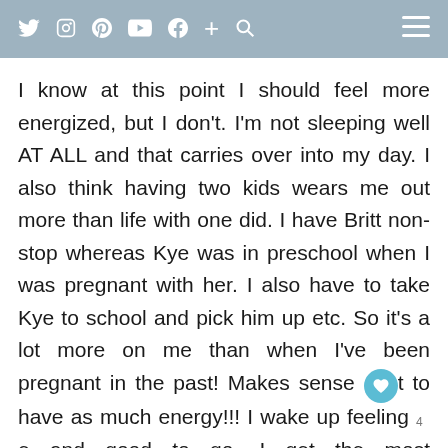social media navigation header with icons: twitter, instagram, pinterest, youtube, facebook, plus, search, and hamburger menu
I know at this point I should feel more energized, but I don't. I'm not sleeping well AT ALL and that carries over into my day. I also think having two kids wears me out more than life with one did. I have Britt non-stop whereas Kye was in preschool when I was pregnant with her. I also have to take Kye to school and pick him up etc. So it's a lot more on me than when I've been pregnant in the past! Makes sense t to have as much energy!!! I wake up feeling 4 e and good to go. I get the most accomplished the mornings…but once 1:00 hits I'm pretty